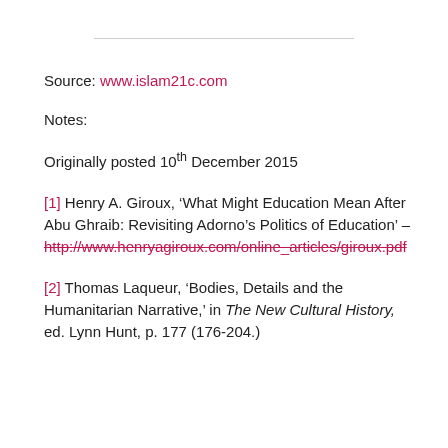Source: www.islam21c.com
Notes:
Originally posted 10th December 2015
[1] Henry A. Giroux, ‘What Might Education Mean After Abu Ghraib: Revisiting Adorno’s Politics of Education’ – http://www.henryagiroux.com/online_articles/giroux.pdf
[2] Thomas Laqueur, ‘Bodies, Details and the Humanitarian Narrative,’ in The New Cultural History, ed. Lynn Hunt, p. 177 (176-204.)